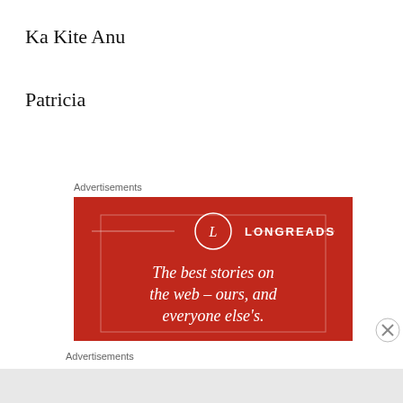Ka Kite Anu
Patricia
Advertisements
[Figure (logo): Longreads advertisement banner. Red background with Longreads logo (circle with L) and text: 'The best stories on the web – ours, and everyone else's.']
Advertisements